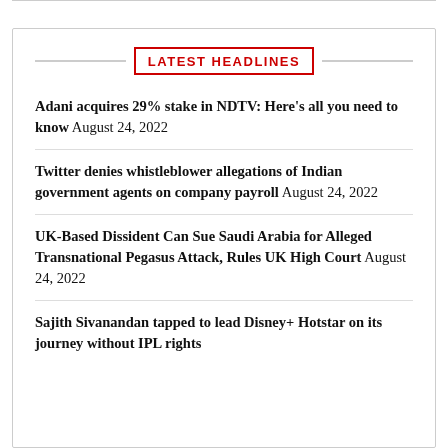LATEST HEADLINES
Adani acquires 29% stake in NDTV: Here's all you need to know August 24, 2022
Twitter denies whistleblower allegations of Indian government agents on company payroll August 24, 2022
UK-Based Dissident Can Sue Saudi Arabia for Alleged Transnational Pegasus Attack, Rules UK High Court August 24, 2022
Sajith Sivanandan tapped to lead Disney+ Hotstar on its journey without IPL rights